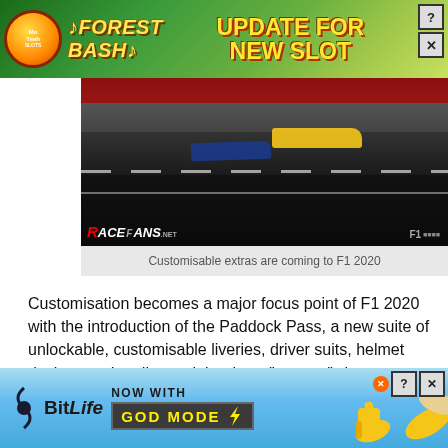[Figure (infographic): Top advertisement banner for 'Forest Bash' slot game with green jungle theme, yellow text reading 'UPDATE FOR NEW SLOT', game logo on left, close and help buttons top right]
[Figure (screenshot): Racing game screenshot showing F1 cars on a track with red barriers. RaceFans.net logo visible in bottom left.]
Customisable extras are coming to F1 2020
Customisation becomes a major focus point of F1 2020 with the introduction of the Paddock Pass, a new suite of unlockable, customisable liveries, driver suits, helmet designs and podium celebrations ('emotes') that operates similar to season passes in popular games like Fortnite.
If reading that gets you worried, however, it's important to point
[Figure (infographic): Bottom advertisement banner for BitLife game with blue sky background, 'NOW WITH GOD MODE' text, thumbs up hand illustration and decorative hands on right]